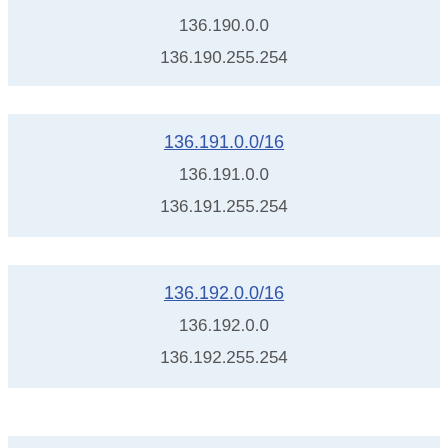136.190.0.0
136.190.255.254
136.191.0.0/16
136.191.0.0
136.191.255.254
136.192.0.0/16
136.192.0.0
136.192.255.254